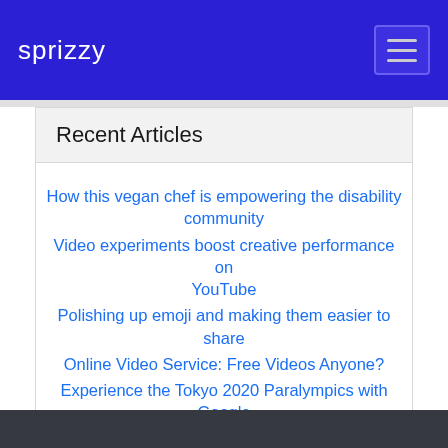sprizzy
Recent Articles
How this vegan chef is empowering the disability community
Video experiments boost creative performance on YouTube
Polishing up emoji and making them easier to share
Online Video Service: Free Videos Anyone?
Experience the Tokyo 2020 Paralympics with Google and YouTube
View All